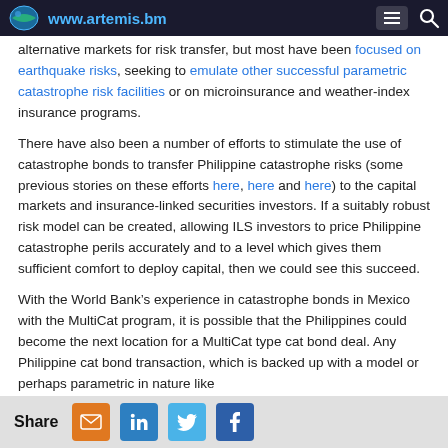www.artemis.bm
alternative markets for risk transfer, but most have been focused on earthquake risks, seeking to emulate other successful parametric catastrophe risk facilities or on microinsurance and weather-index insurance programs.
There have also been a number of efforts to stimulate the use of catastrophe bonds to transfer Philippine catastrophe risks (some previous stories on these efforts here, here and here) to the capital markets and insurance-linked securities investors. If a suitably robust risk model can be created, allowing ILS investors to price Philippine catastrophe perils accurately and to a level which gives them sufficient comfort to deploy capital, then we could see this succeed.
With the World Bank’s experience in catastrophe bonds in Mexico with the MultiCat program, it is possible that the Philippines could become the next location for a MultiCat type cat bond deal. Any Philippine cat bond transaction, which is backed up with a model or perhaps parametric in nature like
Share